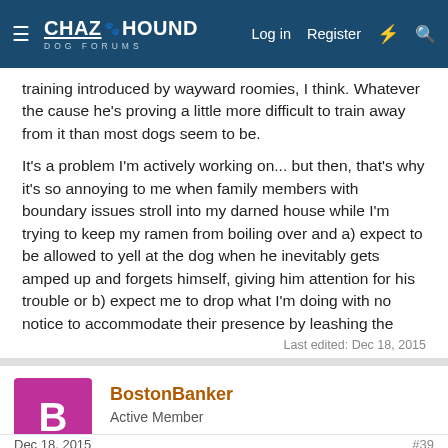≡ CHAZ HOUND DOG FORUMS  Log in  Register  ⚡  🔍
training introduced by wayward roomies, I think. Whatever the cause he's proving a little more difficult to train away from it than most dogs seem to be.
It's a problem I'm actively working on... but then, that's why it's so annoying to me when family members with boundary issues stroll into my darned house while I'm trying to keep my ramen from boiling over and a) expect to be allowed to yell at the dog when he inevitably gets amped up and forgets himself, giving him attention for his trouble or b) expect me to drop what I'm doing with no notice to accommodate their presence by leashing the dog, etc. 😲 I want him to learn... they're just very much not helping and can take their complaints elsewhere at that point.
Last edited: Dec 18, 2015
BostonBanker
Active Member
Dec 18, 2015   #39